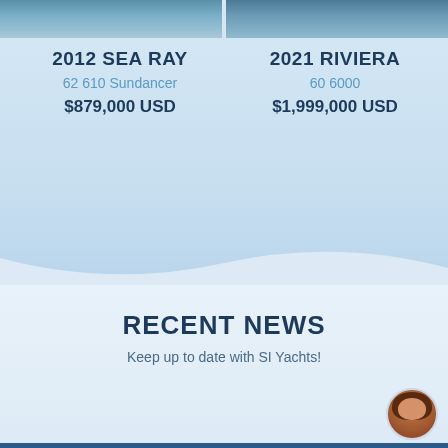[Figure (photo): Two boat/yacht photos side by side at the top of the page]
2012 SEA RAY
62 610 Sundancer
$879,000 USD
2021 RIVIERA
60 6000
$1,999,000 USD
RECENT NEWS
Keep up to date with SI Yachts!